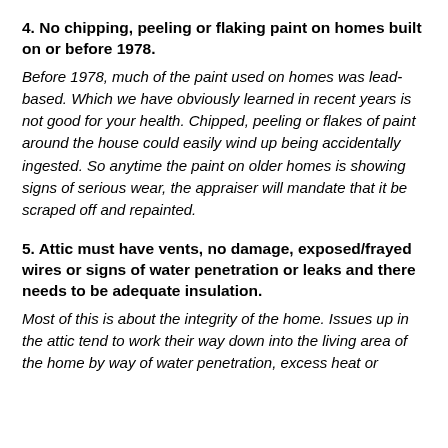4. No chipping, peeling or flaking paint on homes built on or before 1978.
Before 1978, much of the paint used on homes was lead-based. Which we have obviously learned in recent years is not good for your health. Chipped, peeling or flakes of paint around the house could easily wind up being accidentally ingested. So anytime the paint on older homes is showing signs of serious wear, the appraiser will mandate that it be scraped off and repainted.
5. Attic must have vents, no damage, exposed/frayed wires or signs of water penetration or leaks and there needs to be adequate insulation.
Most of this is about the integrity of the home. Issues up in the attic tend to work their way down into the living area of the home by way of water penetration, excess heat or